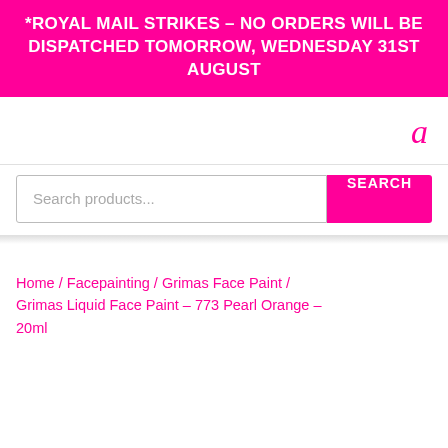*ROYAL MAIL STRIKES – NO ORDERS WILL BE DISPATCHED TOMORROW, WEDNESDAY 31ST AUGUST
a
Search products...
Home / Facepainting / Grimas Face Paint / Grimas Liquid Face Paint – 773 Pearl Orange – 20ml